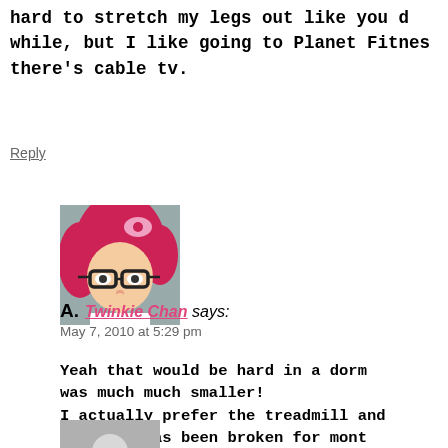hard to stretch my legs out like you do while, but I like going to Planet Fitness there's cable tv.
Reply
[Figure (photo): Profile photo of Twinkie Chan, a woman with bright red/pink hair wearing glasses]
A. Twinkie Chan says:
May 7, 2010 at 5:29 pm
Yeah that would be hard in a dorm was much much smaller! I actually prefer the treadmill and building has been broken for mont
Reply
[Figure (photo): Gray placeholder avatar with white circle]